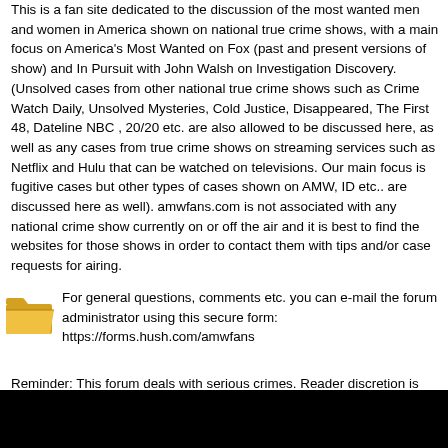This is a fan site dedicated to the discussion of the most wanted men and women in America shown on national true crime shows, with a main focus on America's Most Wanted on Fox (past and present versions of show) and In Pursuit with John Walsh on Investigation Discovery. (Unsolved cases from other national true crime shows such as Crime Watch Daily, Unsolved Mysteries, Cold Justice, Disappeared, The First 48, Dateline NBC , 20/20 etc. are also allowed to be discussed here, as well as any cases from true crime shows on streaming services such as Netflix and Hulu that can be watched on televisions. Our main focus is fugitive cases but other types of cases shown on AMW, ID etc.. are discussed here as well). amwfans.com is not associated with any national crime show currently on or off the air and it is best to find the websites for those shows in order to contact them with tips and/or case requests for airing.
[Figure (illustration): A folder icon (open manila folder) in gold/yellow color]
For general questions, comments etc. you can e-mail the forum administrator using this secure form: https://forms.hush.com/amwfans
Reminder: This forum deals with serious crimes. Reader discretion is advised.